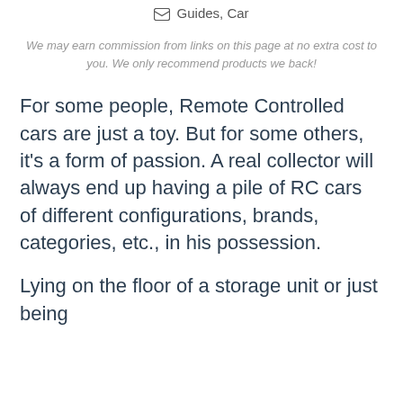Guides, Car
We may earn commission from links on this page at no extra cost to you. We only recommend products we back!
For some people, Remote Controlled cars are just a toy. But for some others, it's a form of passion. A real collector will always end up having a pile of RC cars of different configurations, brands, categories, etc., in his possession.
Lying on the floor of a storage unit or just being